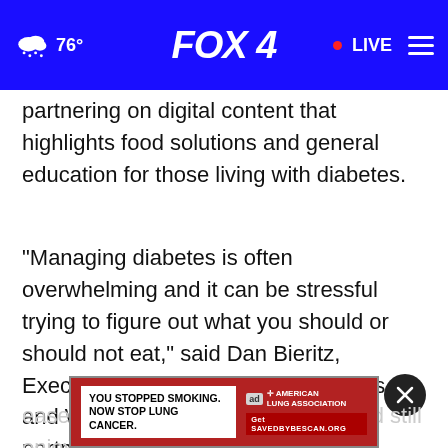FOX 4 | 76° | LIVE
partnering on digital content that highlights food solutions and general education for those living with diabetes.
"Managing diabetes is often overwhelming and it can be stressful trying to figure out what you should or should not eat," said Dan Bieritz, Executive Director for the ADA Illinois and Wisconsin Markets. "This partnership with Egglife helps us highlight safe, simple
delici[ous food options that can help]n
ease some of this extra pressure and still enjoy
[Figure (screenshot): Advertisement banner: YOU STOPPED SMOKING. NOW STOP LUNG CANCER. American Lung Association. Get SAVEDBYBESCAN.ORG]